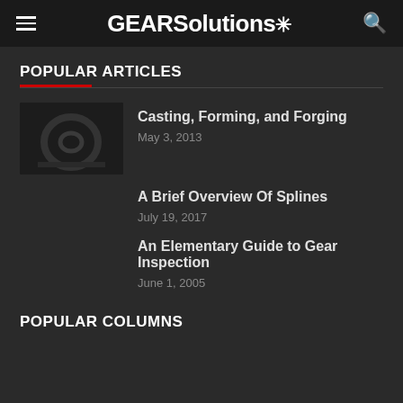GEARSolutions
POPULAR ARTICLES
Casting, Forming, and Forging — May 3, 2013
A Brief Overview Of Splines — July 19, 2017
An Elementary Guide to Gear Inspection — June 1, 2005
POPULAR COLUMNS